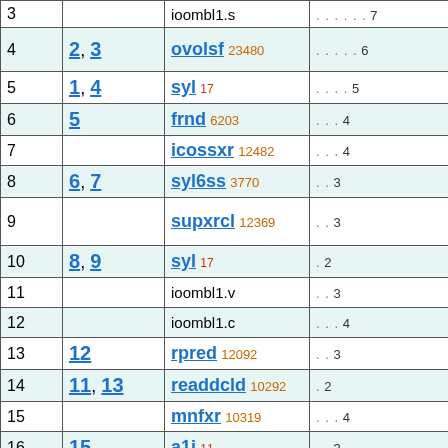| # | refs | name / size | depth |
| --- | --- | --- | --- |
| 3 |  | ioombl1.s | . . . . . . 7 |
| 4 | 2, 3 | ovolsf 23480 | . . . . . 6 |
| 5 | 1, 4 | syl 17 | . . . . 5 |
| 6 | 5 | frnd 6203 | . . . 4 |
| 7 |  | icossxr 12482 | . . . 4 |
| 8 | 6, 7 | syl6ss 3770 | . . 3 |
| 9 |  | supxrcl 12369 | . . 3 |
| 10 | 8, 9 | syl 17 | . 2 |
| 11 |  | ioombl1.v | . . 3 |
| 12 |  | ioombl1.c | . . . 4 |
| 13 | 12 | rpred 12092 | . . 3 |
| 14 | 11, 13 | readdcld 10292 | . 2 |
| 15 |  | mnfxr 10319 | . . . 4 |
| 16 | 15 | a1i 11 | . . 3 |
| 17 | 5 | ffnd 6197 | . . . . 5 |
| 18 |  | 1nn 11254 | . . . . 5 |
| 19 |  | fnfvelrn 6516 | . . . . 5 |